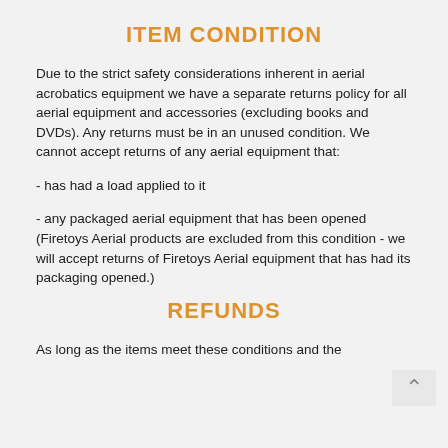ITEM CONDITION
Due to the strict safety considerations inherent in aerial acrobatics equipment we have a separate returns policy for all aerial equipment and accessories (excluding books and DVDs). Any returns must be in an unused condition. We cannot accept returns of any aerial equipment that:
- has had a load applied to it
- any packaged aerial equipment that has been opened (Firetoys Aerial products are excluded from this condition - we will accept returns of Firetoys Aerial equipment that has had its packaging opened.)
REFUNDS
As long as the items meet these conditions and the